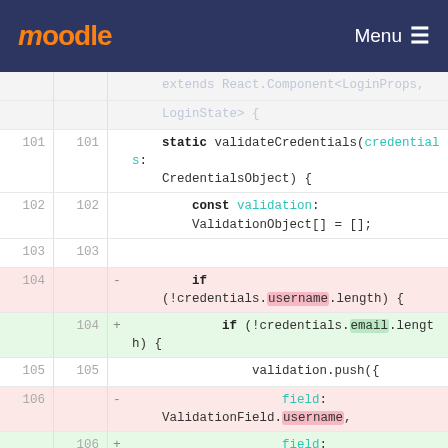moodle | Menu
[Figure (screenshot): Code diff view showing TypeScript/React code. Lines 101-108 visible. Shows a diff replacing 'username' with 'email' in validateCredentials method. Removed lines (red background) use 'username', added lines (green background) use 'email'.]